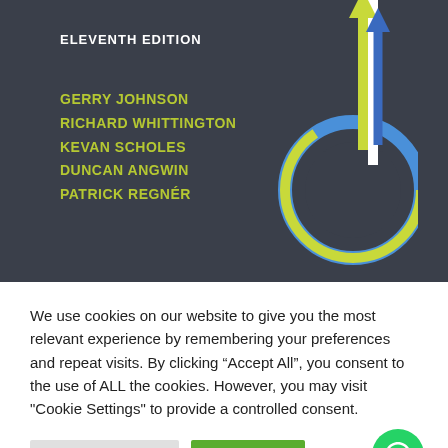[Figure (photo): Book cover showing 'ELEVENTH EDITION' with authors GERRY JOHNSON, RICHARD WHITTINGTON, KEVAN SCHOLES, DUNCAN ANGWIN, PATRICK REGNER on dark background with colored circular arrow logo]
We use cookies on our website to give you the most relevant experience by remembering your preferences and repeat visits. By clicking “Accept All”, you consent to the use of ALL the cookies. However, you may visit "Cookie Settings" to provide a controlled consent.
Cookie Settings | Accept All